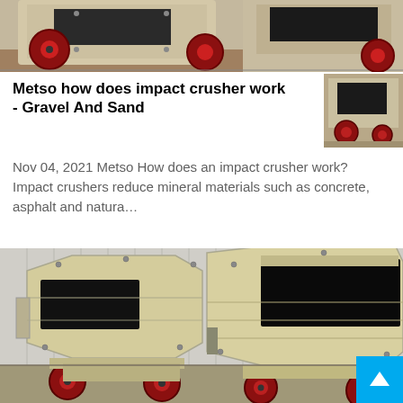[Figure (photo): Partial view of an industrial impact crusher machine with orange/red flywheel, painted in beige/cream color, in a warehouse setting. Only top portion visible.]
Metso how does impact crusher work - Gravel And Sand
Nov 04, 2021 Metso How does an impact crusher work? Impact crushers reduce mineral materials such as concrete, asphalt and natura…
[Figure (photo): Two beige/cream colored mobile impact crusher machines side by side in front of a corrugated metal building. Each crusher has dark-colored feed openings, heavy-duty red-rimmed wheels/tires, bolted steel panels, and hydraulic components visible.]